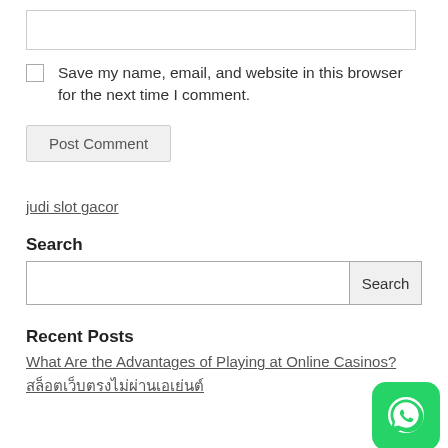[Figure (other): Empty text input box for website URL]
Save my name, email, and website in this browser for the next time I comment.
Post Comment
judi slot gacor
Search
[Figure (other): Search input field with Search button]
Recent Posts
What Are the Advantages of Playing at Online Casinos?
สล็อตเว็บตรงไม่ผ่านเอเย่นต์
[Figure (other): WhatsApp green button icon in bottom right corner]